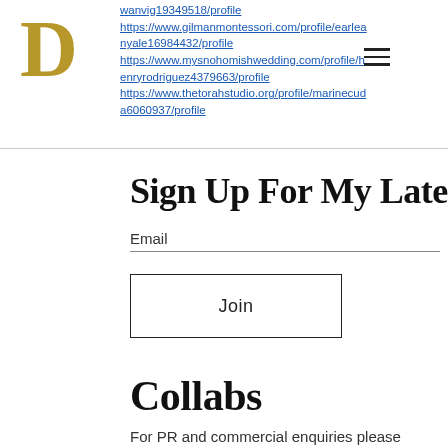wanvig19349518/profile https://www.gilmanmontessori.com/profile/earleanyale16984432/profile https://www.mysnohomishwedding.com/profile/henryrodriguez4379663/profile https://www.thetorahstudio.org/profile/marinecuda6060937/profile
Sign Up For My Latest
Email
Join
Collabs
For PR and commercial enquiries please